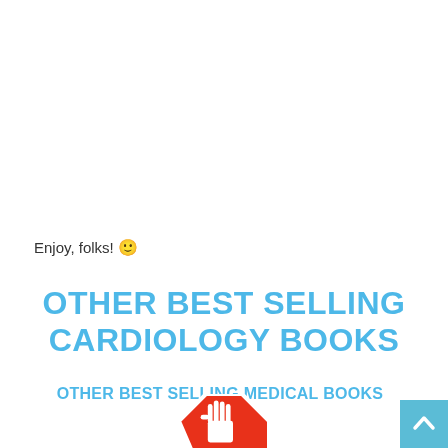Enjoy, folks! 🙂
OTHER BEST SELLING CARDIOLOGY BOOKS
OTHER BEST SELLING MEDICAL BOOKS
[Figure (illustration): Partial stop sign octagon with raised hand symbol, red with white border, cropped at bottom of page]
[Figure (other): Light blue square scroll-to-top button with white upward chevron arrow, bottom-right corner]